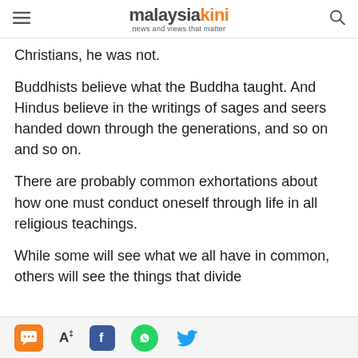malaysiakini — news and views that matter
Christians, he was not.
Buddhists believe what the Buddha taught. And Hindus believe in the writings of sages and seers handed down through the generations, and so on and so on.
There are probably common exhortations about how one must conduct oneself through life in all religious teachings.
While some will see what we all have in common, others will see the things that divide
Social sharing and accessibility toolbar icons: chat, font size, Facebook, WhatsApp, Twitter